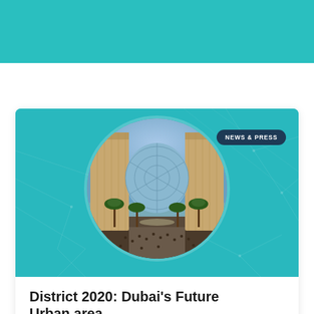[Figure (photo): Architectural rendering of Expo 2020 Dubai venue showing tall buildings, palm trees and a large geodesic dome structure, displayed as a circular cropped image on a teal background with map/circuit line patterns. A 'NEWS & PRESS' badge is overlaid in the upper right.]
District 2020: Dubai's Future Urban area